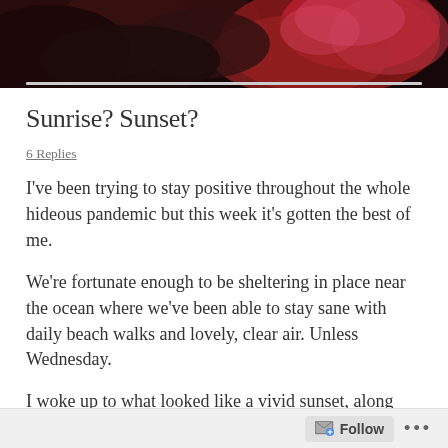[Figure (photo): Top portion of a photo showing dark reddish-brown and red smoke against a dark background]
Sunrise? Sunset?
6 Replies
I've been trying to stay positive throughout the whole hideous pandemic but this week it's gotten the best of me.
We're fortunate enough to be sheltering in place near the ocean where we've been able to stay sane with daily beach walks and lovely, clear air. Unless Wednesday.
I woke up to what looked like a vivid sunset, along with the dense, acrid smell of smoke. US readers will know that we are facing massive wildfires on the west coast, and even our
Follow ...